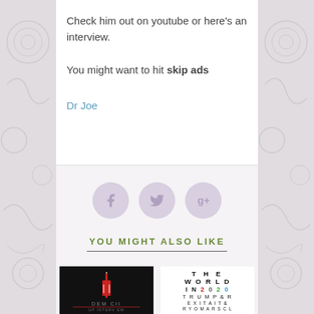Check him out on youtube or here's an interview.
You might want to hit skip ads
Dr Joe
[Figure (infographic): Three circular social media share buttons for Facebook, Twitter, and Google+, in a muted purple/lavender color]
YOU MIGHT ALSO LIKE
[Figure (photo): Thumbnail image with dark background showing a syringe and text 'DEMICII UP INTERVIEW']
[Figure (photo): Thumbnail showing eye-chart style text reading 'THE WORLD IN 2020 TRUMP BR EXITAITB RYOMARSOL' etc.]